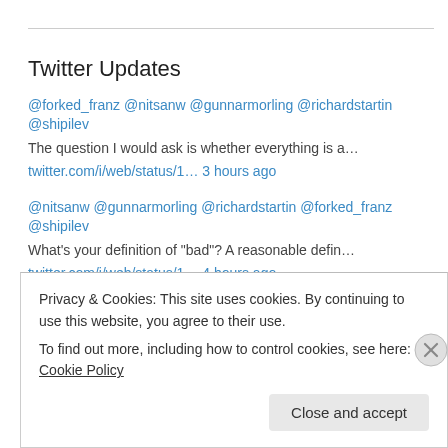Twitter Updates
@forked_franz @nitsanw @gunnarmorling @richardstartin @shipilev The question I would ask is whether everything is a… twitter.com/i/web/status/1… 3 hours ago
@nitsanw @gunnarmorling @richardstartin @forked_franz @shipilev What's your definition of "bad"? A reasonable defin… twitter.com/i/web/status/1… 4 hours ago
RT @dougallj: New blog post: Faster zlib/DEFLATE decompression on the Apple M1 (and x86) dougallj.wordpress.com/2022/08/20/fas…
Privacy & Cookies: This site uses cookies. By continuing to use this website, you agree to their use. To find out more, including how to control cookies, see here: Cookie Policy
Close and accept